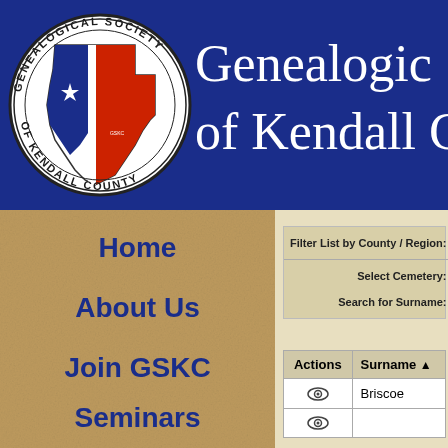[Figure (logo): Genealogical Society of Kendall County circular seal logo with Texas state shape in red, white, and blue with a star, surrounded by text reading GENEALOGICAL SOCIETY OF KENDALL COUNTY]
Genealogical Society of Kendall County
Home
About Us
Join GSKC
Seminars
Filter List by County / Region:
Select Cemetery:
Search for Surname:
| Actions | Surname ▲ |
| --- | --- |
| 👁 | Briscoe |
|  |  |